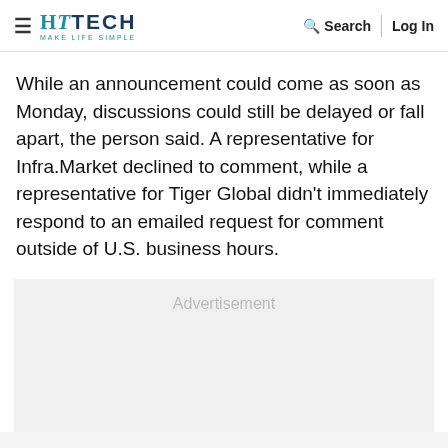HT TECH — MAKE LIFE SIMPLE | Search | Log In
While an announcement could come as soon as Monday, discussions could still be delayed or fall apart, the person said. A representative for Infra.Market declined to comment, while a representative for Tiger Global didn't immediately respond to an emailed request for comment outside of U.S. business hours.
[Figure (other): Advertisement placeholder box with light gray background and the word 'Advertisement' displayed in gray text.]